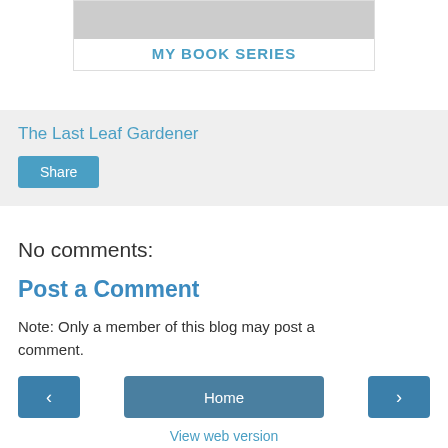[Figure (illustration): Book series card with image area and MY BOOK SERIES title]
The Last Leaf Gardener
Share
No comments:
Post a Comment
Note: Only a member of this blog may post a comment.
Home
View web version
Powered by Blogger.